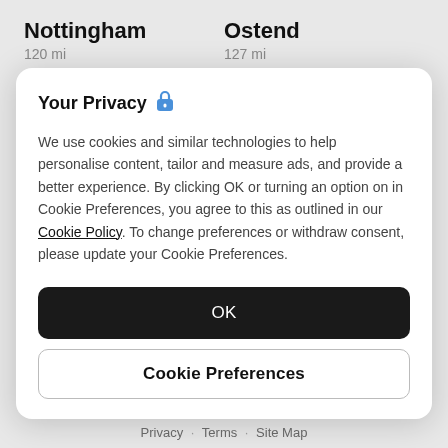Nottingham
120 mi
Ostend
127 mi
Your Privacy 🔒
We use cookies and similar technologies to help personalise content, tailor and measure ads, and provide a better experience. By clicking OK or turning an option on in Cookie Preferences, you agree to this as outlined in our Cookie Policy. To change preferences or withdraw consent, please update your Cookie Preferences.
OK
Cookie Preferences
Privacy · Terms · Site Map